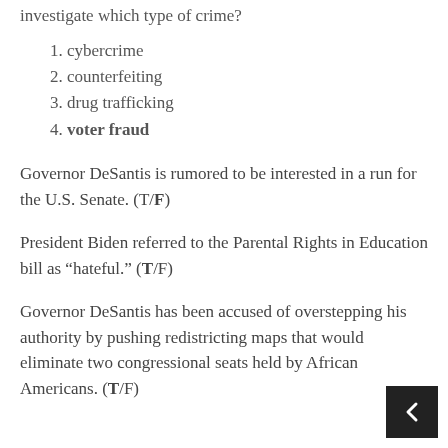investigate which type of crime?
1. cybercrime
2. counterfeiting
3. drug trafficking
4. voter fraud
Governor DeSantis is rumored to be interested in a run for the U.S. Senate. (T/F)
President Biden referred to the Parental Rights in Education bill as “hateful.” (T/F)
Governor DeSantis has been accused of overstepping his authority by pushing redistricting maps that would eliminate two congressional seats held by African Americans. (T/F)